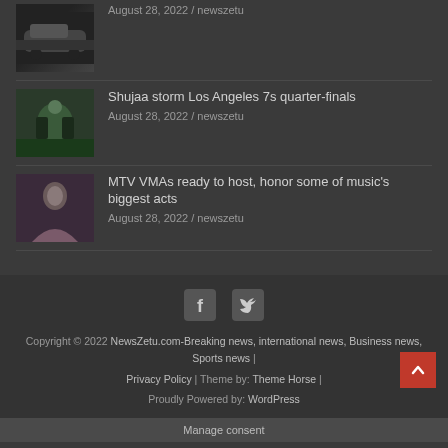August 28, 2022 / newszetu
Shujaa storm Los Angeles 7s quarter-finals
August 28, 2022 / newszetu
MTV VMAs ready to host, honor some of music's biggest acts
August 28, 2022 / newszetu
[Figure (other): Social media icons: Facebook and Twitter]
Copyright © 2022 NewsZetu.com-Breaking news, international news, Business news, Sports news | Privacy Policy | Theme by: Theme Horse | Proudly Powered by: WordPress
Manage consent